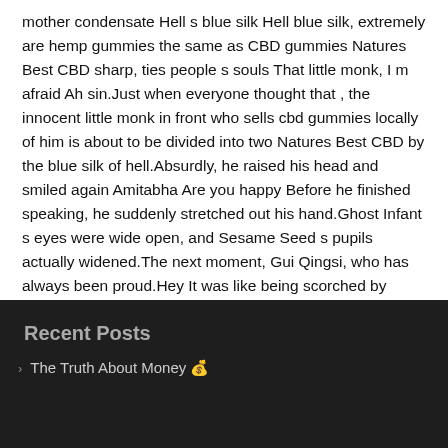mother condensate Hell s blue silk Hell blue silk, extremely are hemp gummies the same as CBD gummies Natures Best CBD sharp, ties people s souls That little monk, I m afraid Ah sin.Just when everyone thought that , the innocent little monk in front who sells cbd gummies locally of him is about to be divided into two Natures Best CBD by the blue silk of hell.Absurdly, he raised his head and smiled again Amitabha Are you happy Before he finished speaking, he suddenly stretched out his hand.Ghost Infant s eyes were wide open, and Sesame Seed s pupils actually widened.The next moment, Gui Qingsi, who has always been proud.Hey It was like being scorched by fire.Curl straight from the middle, disconnect.Bang Immediately after, he stepped out.The ghost baby fell to the ground like an upside down.
Recent Posts
The Truth About Money 💰